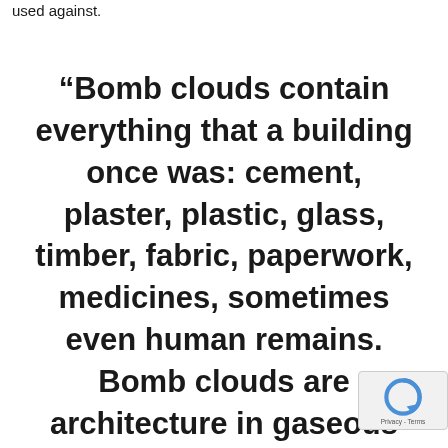used against.
“Bomb clouds contain everything that a building once was: cement, plaster, plastic, glass, timber, fabric, paperwork, medicines, sometimes even human remains. Bomb clouds are architecture in gaseous form…